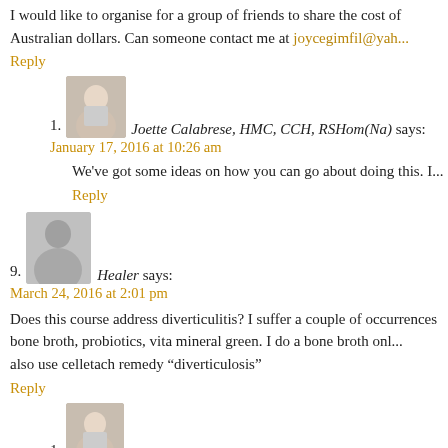I would like to organise for a group of friends to share the cost of Australian dollars. Can someone contact me at joycegimfil@yah...
Reply
1. Joette Calabrese, HMC, CCH, RSHom(Na) says: January 17, 2016 at 10:26 am
We've got some ideas on how you can go about doing this. I...
Reply
9. Healer says: March 24, 2016 at 2:01 pm
Does this course address diverticulitis? I suffer a couple of occurrences bone broth, probiotics, vita mineral green. I do a bone broth onl... also use celletach remedy “diverticulosis”
Reply
1. Joette Calabrese, HMC, CCH, RSHom(Na) says: March 24, 2016 at 5:09 pm